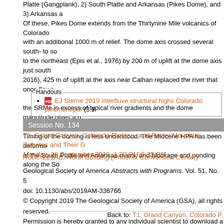Platte (Gangplank), 2) South Platte and Arkansas (Pikes Dome), and 3) Arkansas a... Of these, Pikes Dome extends from the Thirtynine Mile volcanics of Colorado with an additional 1000 m of relief. The dome axis crossed several south- to so... to the northeast (Epis et al., 1976) by 200 m of uplift at the dome axis just south 2016), 425 m of uplift at the axis near Calhan replaced the river that once flowe... the SRMe in excess of typical river gradients and the dome magnitude gives a p... looked like. Timing of the doming is less understood. The Miocene HPA has been deforme... of the South Platte and Arkansas rivers, and blockage and ponding along the So...
EJ Sterne 2019 Interfluve structural highs Colorado piedmont.pdf (3.9...
Session No. 134
T1. Grand Canyon, Colorado Plateau, and Rocky Mountain Debates and Their G
Monday, 23 September 2019: 1:30 PM-5:30 PM
Room 221AB, North Building (Phoenix Convention Center)
Geological Society of America Abstracts with Programs. Vol. 51, No. 5
doi: 10.1130/abs/2019AM-336766
© Copyright 2019 The Geological Society of America (GSA), all rights reserved.
Permission is hereby granted to any individual scientist to download a single co... including classroom use, providing all reproductions include the complete cor... permission from GSA Copyright Permissions.
Back to: T1. Grand Canyon, Colorado P...